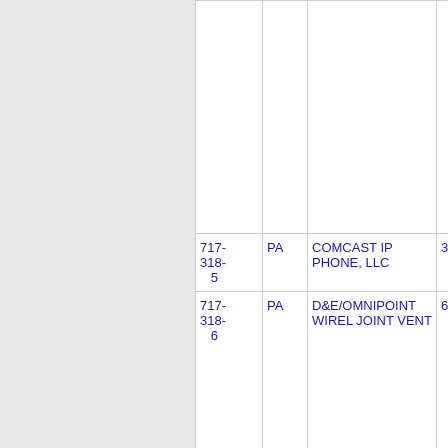| Number | State | Name | Extra |
| --- | --- | --- | --- |
|  |  |  |  |
| 717-318-5 | PA | COMCAST IP PHONE, LLC | 3 |
| 717-318-6 | PA | D&E/OMNIPOINT WIREL JOINT VENT | 6 |